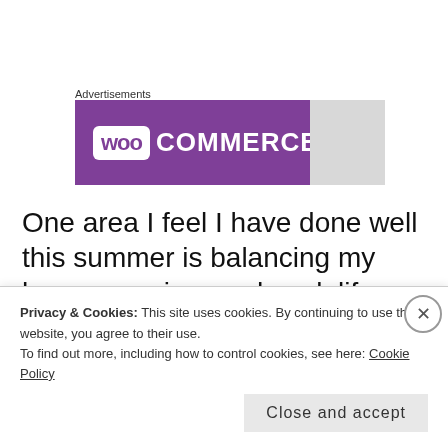Advertisements
[Figure (logo): WooCommerce advertisement banner with purple background and logo on the left, gray section on the right.]
One area I feel I have done well this summer is balancing my home, running, and work life. Back in April I accepted some additional responsibilities at work and I knew that I
Privacy & Cookies: This site uses cookies. By continuing to use this website, you agree to their use.
To find out more, including how to control cookies, see here: Cookie Policy
Close and accept